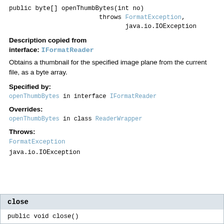public byte[] openThumbBytes(int no)
                    throws FormatException,
                           java.io.IOException
Description copied from interface: IFormatReader
Obtains a thumbnail for the specified image plane from the current file, as a byte array.
Specified by:
openThumbBytes in interface IFormatReader
Overrides:
openThumbBytes in class ReaderWrapper
Throws:
FormatException
java.io.IOException
close
public void close()